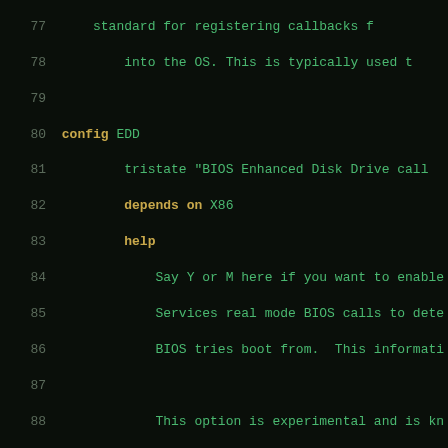Linux kernel Kconfig source code, lines 77-107, showing config entries for EDD, EDD_OFF, and FIRMWARE_MEMMAP
77  standard for registering callbacks f
78      into the OS. This is typically used t
79
80  config EDD
81      tristate "BIOS Enhanced Disk Drive call
82      depends on X86
83      help
84          Say Y or M here if you want to enable
85          Services real mode BIOS calls to dete
86          BIOS tries boot from.  This informati
87
88          This option is experimental and is kn
89          obscure configurations. Most disk con
90          not yet implement this feature.
91
92  config EDD_OFF
93      bool "Sets default behavior for EDD det
94      depends on EDD
95      default n
96      help
97          Say Y if you want EDD disabled by def
98          kernel. Say N if you want EDD enabled
99          using the kernel parameter 'edd={on|s
100
101 config FIRMWARE_MEMMAP
102     bool "Add firmware-provided memory map to s
103     default X86
104     help
105         Add the firmware-provided (unmodified) me
106         That memory map is used for example by ke
107         for the next kernel but can also be us